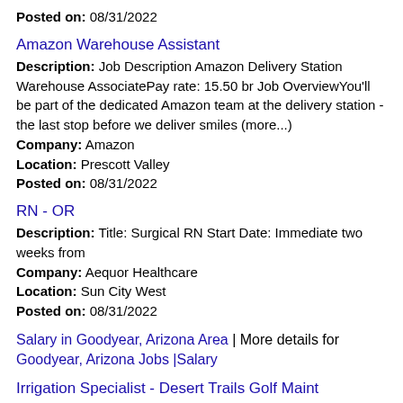Posted on: 08/31/2022
Amazon Warehouse Assistant
Description: Job Description Amazon Delivery Station Warehouse AssociatePay rate: 15.50 br Job OverviewYou'll be part of the dedicated Amazon team at the delivery station - the last stop before we deliver smiles (more...)
Company: Amazon
Location: Prescott Valley
Posted on: 08/31/2022
RN - OR
Description: Title: Surgical RN Start Date: Immediate two weeks from
Company: Aequor Healthcare
Location: Sun City West
Posted on: 08/31/2022
Salary in Goodyear, Arizona Area | More details for Goodyear, Arizona Jobs |Salary
Irrigation Specialist - Desert Trails Golf Maint
Description: Job DetailsLevelExperiencedJob LocationDesert Trails Golf Maint - Sun City West, AZPosition TypeFull